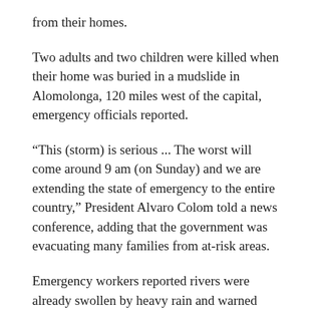from their homes.
Two adults and two children were killed when their home was buried in a mudslide in Alomolonga, 120 miles west of the capital, emergency officials reported.
“This (storm) is serious ... The worst will come around 9 am (on Sunday) and we are extending the state of emergency to the entire country,” President Alvaro Colom told a news conference, adding that the government was evacuating many families from at-risk areas.
Emergency workers reported rivers were already swollen by heavy rain and warned flooding could be